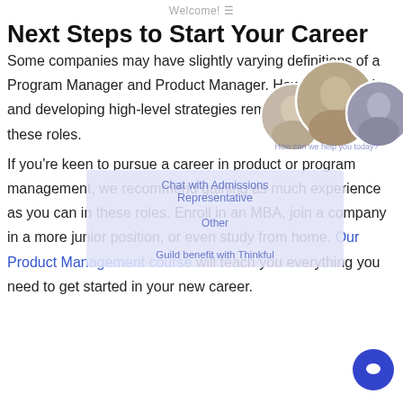Welcome!
Next Steps to Start Your Career
[Figure (photo): Three circular profile photos of people, overlapping, displayed in the upper right of the content area.]
Some companies may have slightly varying definitions of a Program Manager and Product Manager. However, planning and developing high-level strategies remain at the core of these roles.
If you're keen to pursue a career in product or program management, we recommend gaining as much experience as you can in these roles. Enroll in an MBA, join a company in a more junior position, or even study from home. Our Product Management course will teach you everything you need to get started in your new career.